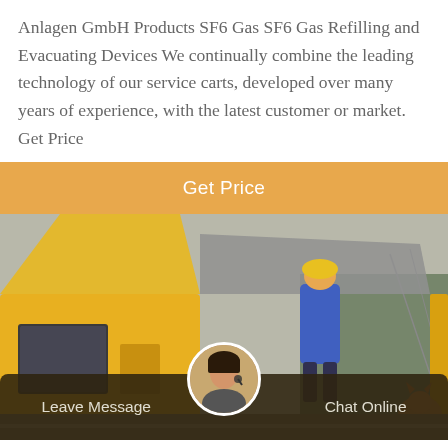Anlagen GmbH Products SF6 Gas SF6 Gas Refilling and Evacuating Devices We continually combine the leading technology of our service carts, developed over many years of experience, with the latest customer or market. Get Price
[Figure (other): Button/CTA bar with orange background and white text reading 'Get Price']
[Figure (photo): A worker in a blue jacket and yellow hard hat working on top of a large yellow industrial vehicle or equipment, with trees and power lines visible in the background. An orange cat is visible in the lower right corner.]
Leave Message
Chat Online